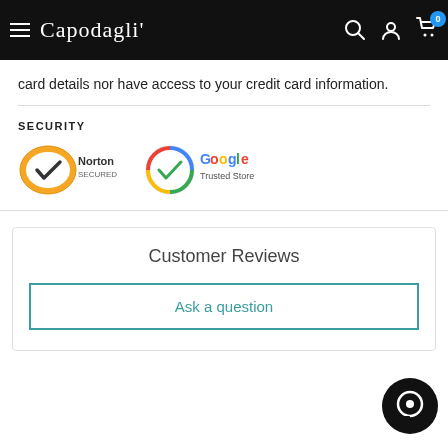Capodagli - navigation header with menu, logo, search, account, cart
card details nor have access to your credit card information.
SECURITY
[Figure (logo): Norton Secured badge and Google Trusted Store badge]
Customer Reviews
Ask a question